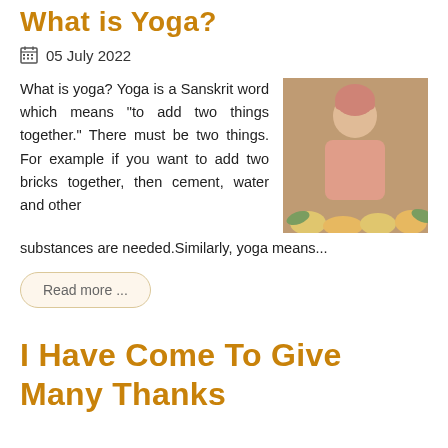What is Yoga?
05 July 2022
What is yoga? Yoga is a Sanskrit word which means "to add two things together." There must be two things. For example if you want to add two bricks together, then cement, water and other substances are needed.Similarly, yoga means...
[Figure (photo): A spiritual teacher wearing pink robes and a pink head covering, seated and speaking, surrounded by flowers and decorations.]
Read more ...
I Have Come To Give Many Thanks